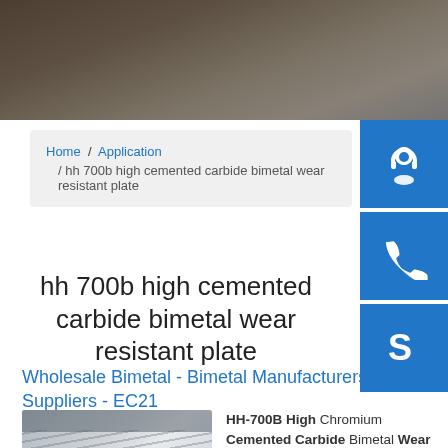[Figure (photo): Industrial metal pipes or rolls in a warehouse, hero banner image]
Home / Application / hh 700b high cemented carbide bimetal wear resistant plate
hh 700b high cemented carbide bimetal wear resistant plate
Wholesale Bimetal - Bimetal Manufacturers, Suppliers - EC21
[Figure (photo): Stack of steel or bimetal wear resistant plates]
HH-700B High Chromium Cemented Carbide Bimetal Wear Resistant Steel Plate Related...Wear...